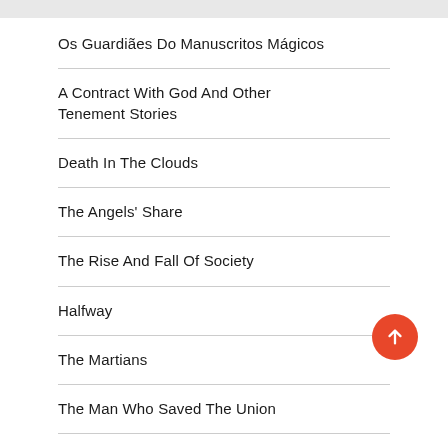Os Guardiães Do Manuscritos Mágicos
A Contract With God And Other Tenement Stories
Death In The Clouds
The Angels' Share
The Rise And Fall Of Society
Halfway
The Martians
The Man Who Saved The Union
Troubled Waters
The First Tycoon